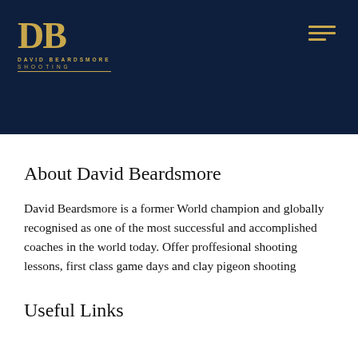[Figure (logo): David Beardsmore Shooting logo: large gold 'DB' letters with 'DAVID BEARDSMORE SHOOTING' text below in small caps, gold color on dark navy background]
About David Beardsmore
David Beardsmore is a former World champion and globally recognised as one of the most successful and accomplished coaches in the world today. Offer proffesional shooting lessons, first class game days and clay pigeon shooting
Useful Links